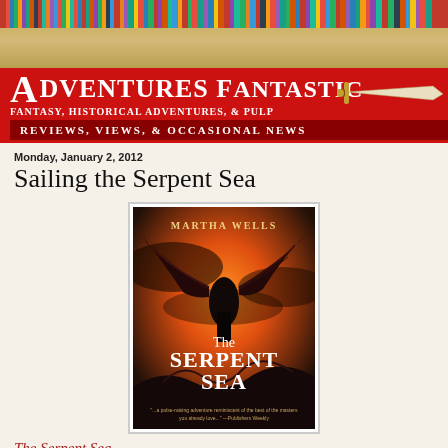[Figure (photo): Colorful bookshelf banner at top of page]
[Figure (logo): Adventures Fantastic blog header banner with red background, title text, subtitle 'Fantasy, Historical Adventures, & Pulp', tagline 'Reviews, Views, & Occasional News', and sword illustration]
Monday, January 2, 2012
Sailing the Serpent Sea
[Figure (photo): Book cover of 'The Serpent Sea' by Martha Wells, showing a dark winged figure against an orange/red dramatic sky]
The Serpent Sea